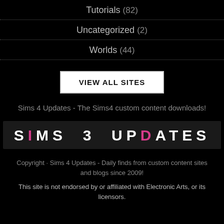Tutorials (82)
Uncategorized (2)
Worlds (44)
VIEW ALL SITES
Sims 4 Updates - The Sims4 custom content downloads!
[Figure (logo): SIMS 3 UPDATES logo with pink I and pink D on dark background]
Copyright · Sims 4 Updates - Daily finds from custom content sites and blogs since 2009!
This site is not endorsed by or affiliated with Electronic Arts, or its licensors.